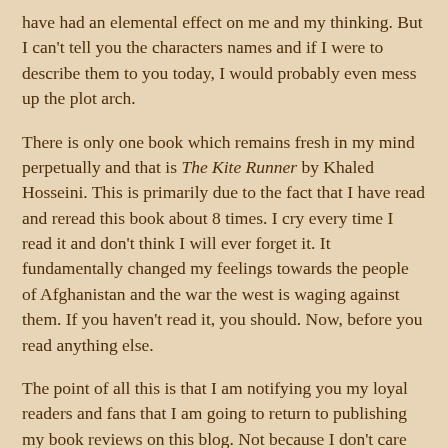have had an elemental effect on me and my thinking. But I can't tell you the characters names and if I were to describe them to you today, I would probably even mess up the plot arch.
There is only one book which remains fresh in my mind perpetually and that is The Kite Runner by Khaled Hosseini. This is primarily due to the fact that I have read and reread this book about 8 times. I cry every time I read it and don't think I will ever forget it. It fundamentally changed my feelings towards the people of Afghanistan and the war the west is waging against them. If you haven't read it, you should. Now, before you read anything else.
The point of all this is that I am notifying you my loyal readers and fans that I am going to return to publishing my book reviews on this blog. Not because I don't care about what my readers think but mostly because this is my blog and I can do what I want to. If you don't like the book reviews, skip reading that day. But come back tomorrow. Even I rarely manage to read more than 1 book in 2 days.